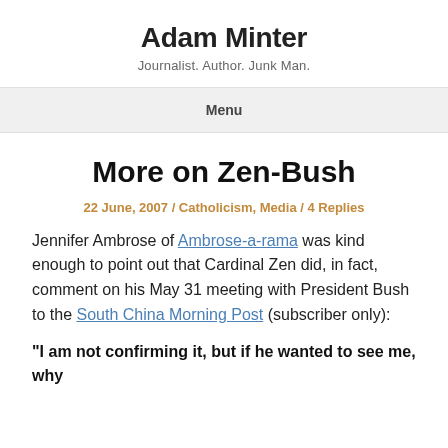Adam Minter
Journalist. Author. Junk Man.
Menu
More on Zen-Bush
22 June, 2007 / Catholicism, Media / 4 Replies
Jennifer Ambrose of Ambrose-a-rama was kind enough to point out that Cardinal Zen did, in fact, comment on his May 31 meeting with President Bush to the South China Morning Post (subscriber only):
“I am not confirming it, but if he wanted to see me, why